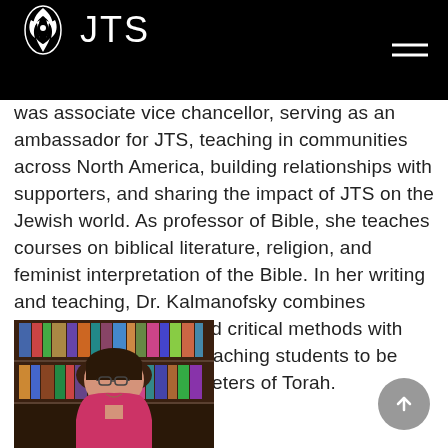JTS
was associate vice chancellor, serving as an ambassador for JTS, teaching in communities across North America, building relationships with supporters, and sharing the impact of JTS on the Jewish world. As professor of Bible, she teaches courses on biblical literature, religion, and feminist interpretation of the Bible. In her writing and teaching, Dr. Kalmanofsky combines contemporary ideas and critical methods with traditional text study, teaching students to be careful, creative interpreters of Torah.
Read More →
[Figure (photo): Portrait photo of a woman with glasses and dark hair, wearing a pink top, smiling, with bookshelves in the background]